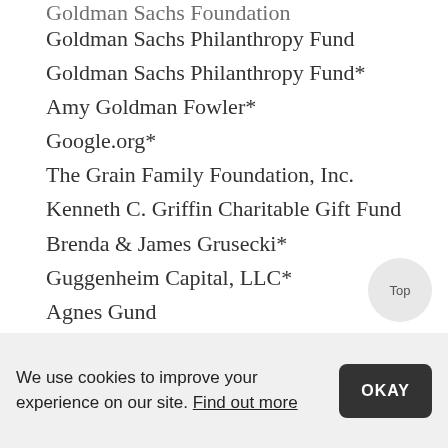Goldman Sachs Foundation
Goldman Sachs Philanthropy Fund
Goldman Sachs Philanthropy Fund*
Amy Goldman Fowler*
Google.org*
The Grain Family Foundation, Inc.
Kenneth C. Griffin Charitable Gift Fund
Brenda & James Grusecki*
Guggenheim Capital, LLC*
Agnes Gund
The Harris Family Foundation*
The Hauptman Family Foundation
Health Care Service Corporation
We use cookies to improve your experience on our site. Find out more